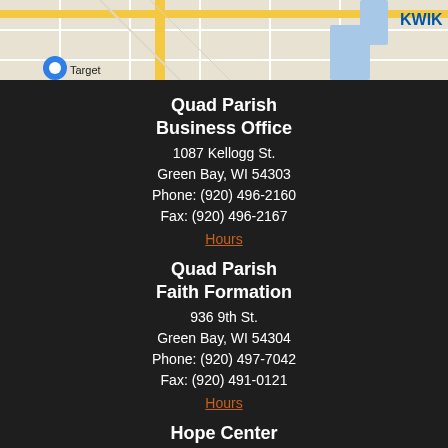[Figure (map): Partial Google Map screenshot showing street layout with yellow roads, water feature, and Target store marker. Top-right shows 'KWIK' text label.]
Quad Parish Business Office
1087 Kellogg St.
Green Bay, WI 54303
Phone: (920) 496-2160
Fax: (920) 496-2167
Hours
Quad Parish Faith Formation
936 9th St.
Green Bay, WI 54304
Phone: (920) 497-7042
Fax: (920) 491-0121
Hours
Hope Center
505 Clinton Street
Green Bay, WI 54304
St. Patrick Pantry: (920) 437-3356
Love Life: Ministry: (920) 497-1087
View Website